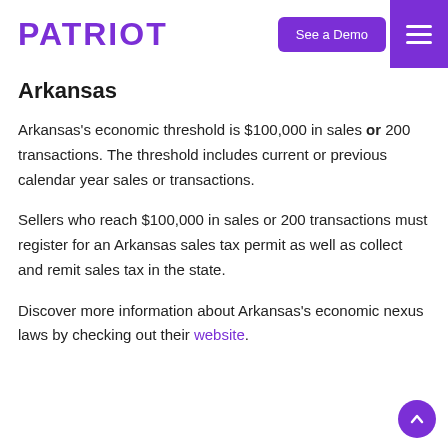PATRIOT | See a Demo | Menu
Arkansas
Arkansas’s economic threshold is $100,000 in sales or 200 transactions. The threshold includes current or previous calendar year sales or transactions.
Sellers who reach $100,000 in sales or 200 transactions must register for an Arkansas sales tax permit as well as collect and remit sales tax in the state.
Discover more information about Arkansas’s economic nexus laws by checking out their website.